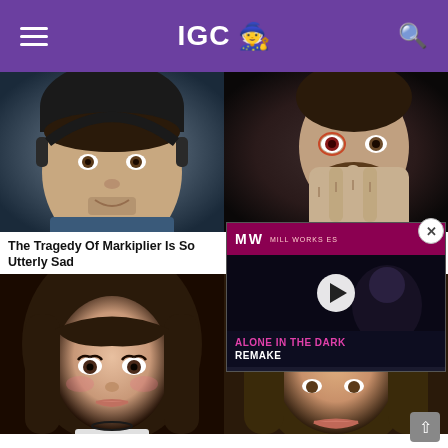IGC 🧙
[Figure (photo): Close-up photo of Markiplier (YouTuber) wearing headphones]
[Figure (photo): Dark cinematic image of a man with red glowing eye touching his face]
The Tragedy Of Markiplier Is So Utterly Sad
Prey 2017 Director Breaks Silence On Bethesda's Insult
[Figure (photo): Portrait of a young woman with brunette hair and dramatic makeup]
[Figure (screenshot): Video player overlay showing 'ALONE IN THE DARK REMAKE' with MW logo and play button]
[Figure (photo): Partial portrait of a woman with brown hair, bottom right card]